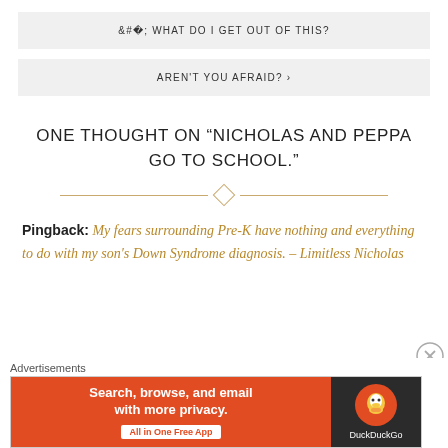< WHAT DO I GET OUT OF THIS?
AREN'T YOU AFRAID? >
ONE THOUGHT ON “NICHOLAS AND PEPPA GO TO SCHOOL.”
Pingback: My fears surrounding Pre-K have nothing and everything to do with my son’s Down Syndrome diagnosis. – Limitless Nicholas
Advertisements
[Figure (screenshot): DuckDuckGo advertisement banner: Search, browse, and email with more privacy. All in One Free App]